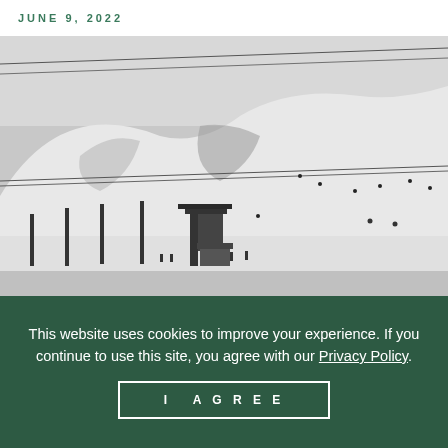JUNE 9, 2022
[Figure (photo): Black and white photograph of a snow-covered ski slope with a ski lift structure in the foreground, ski poles, and multiple skiers visible on the mountain. Power lines cross the upper portion of the image against a grey sky.]
This website uses cookies to improve your experience. If you continue to use this site, you agree with our Privacy Policy.
I AGREE